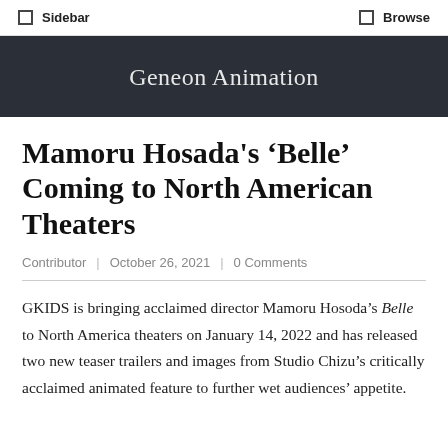Sidebar | Browse
Geneon Animation
Mamoru Hosada's 'Belle' Coming to North American Theaters
Contributor | October 26, 2021 | 0 Comments
GKIDS is bringing acclaimed director Mamoru Hosoda's Belle to North America theaters on January 14, 2022 and has released two new teaser trailers and images from Studio Chizu's critically acclaimed animated feature to further wet audiences' appetite.